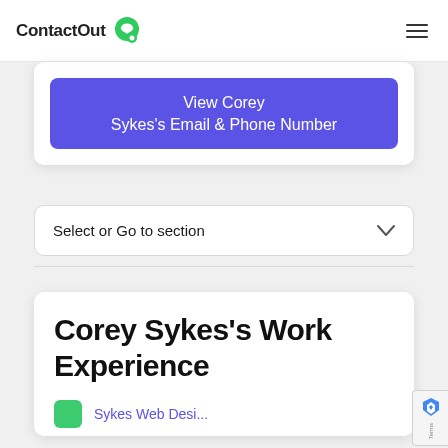ContactOut
View Corey Sykes's Email & Phone Number
Select or Go to section
Corey Sykes's Work Experience